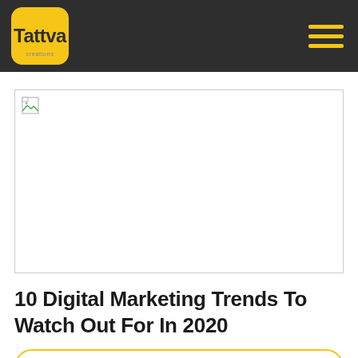Tattva creations
[Figure (photo): Broken/missing image placeholder rectangle with a small broken image icon in the top-left corner]
10 Digital Marketing Trends To Watch Out For In 2020
In this age of innovation where everything is